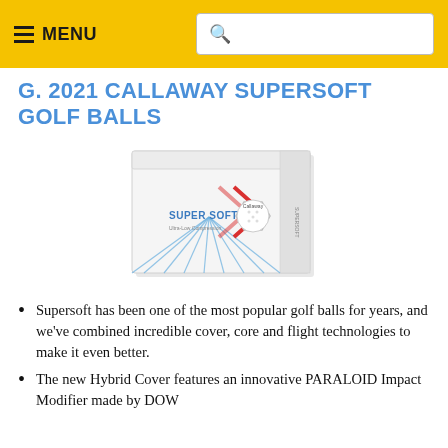MENU [search bar]
g. 2021 CALLAWAY SUPERSOFT GOLF BALLS
[Figure (photo): Box of 2021 Callaway Supersoft Golf Balls, white box with blue and red geometric design and a golf ball visible on the front panel.]
Supersoft has been one of the most popular golf balls for years, and we’ve combined incredible cover, core and flight technologies to make it even better.
The new Hybrid Cover features an innovative PARALOID Impact Modifier made by DOW